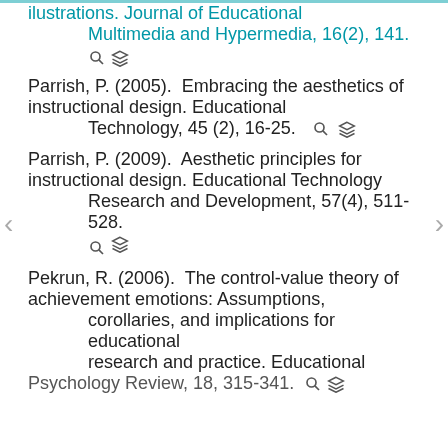illustrions. Journal of Educational Multimedia and Hypermedia, 16(2), 141.
Parrish, P. (2005). Embracing the aesthetics of instructional design. Educational Technology, 45 (2), 16-25.
Parrish, P. (2009). Aesthetic principles for instructional design. Educational Technology Research and Development, 57(4), 511-528.
Pekrun, R. (2006). The control-value theory of achievement emotions: Assumptions, corollaries, and implications for educational research and practice. Educational Psychology Review, 18, 315-341.